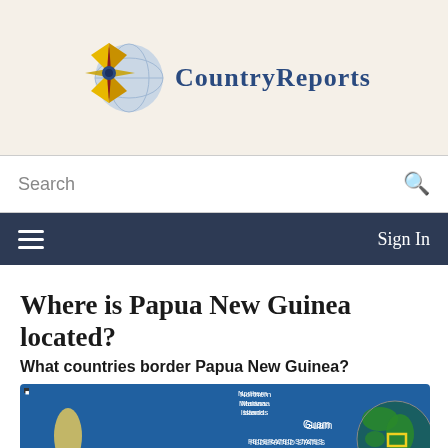[Figure (logo): CountryReports logo with compass star and globe]
Search
Sign In
Where is Papua New Guinea located?
What countries border Papua New Guinea?
[Figure (map): Map showing Papua New Guinea region including Philippines, Northern Mariana Islands, Wake Island, Guam, Federated States of Micronesia, Marshall Islands, Palau, with globe inset showing location highlighted]